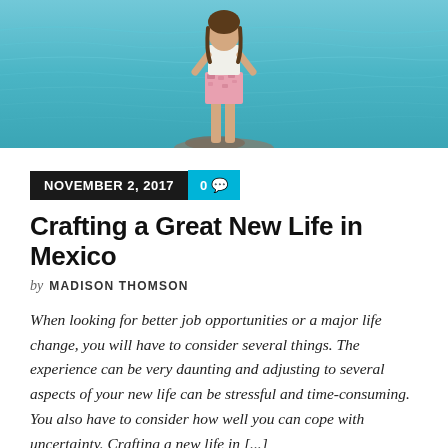[Figure (photo): Photo of person standing by ocean/water, viewed from behind, wearing floral shorts, feet on rocks with teal blue water in background]
NOVEMBER 2, 2017   0
Crafting a Great New Life in Mexico
by MADISON THOMSON
When looking for better job opportunities or a major life change, you will have to consider several things. The experience can be very daunting and adjusting to several aspects of your new life can be stressful and time-consuming. You also have to consider how well you can cope with uncertainty. Crafting a new life in [...]
[Figure (photo): Close-up photo of a vintage or rustic sign, partially visible, showing decorative lettering that appears to start with 'VE' or similar, with aged white/cream background and dark ornate font]